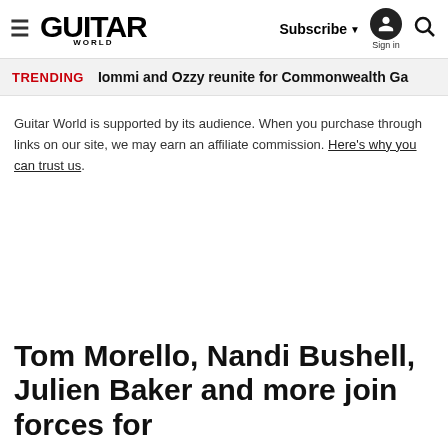Guitar World — Subscribe | Sign in | Search
TRENDING  Iommi and Ozzy reunite for Commonwealth Ga
Guitar World is supported by its audience. When you purchase through links on our site, we may earn an affiliate commission. Here's why you can trust us.
Tom Morello, Nandi Bushell, Julien Baker and more join forces for